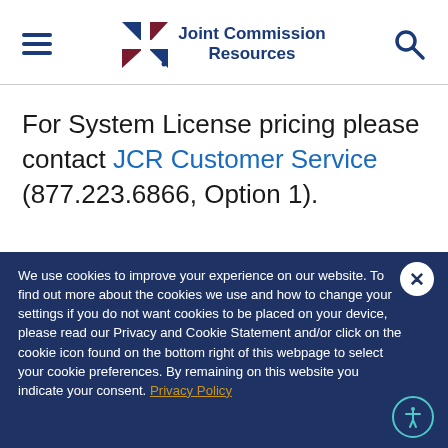Joint Commission Resources — navigation header with hamburger menu and search icon
For System License pricing please contact JCR Customer Service (877.223.6866, Option 1).
We use cookies to improve your experience on our website. To find out more about the cookies we use and how to change your settings if you do not want cookies to be placed on your device, please read our Privacy and Cookie Statement and/or click on the cookie icon found on the bottom right of this webpage to select your cookie preferences. By remaining on this website you indicate your consent. Privacy Policy